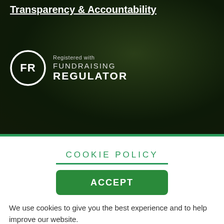Transparency & Accountability
[Figure (logo): Fundraising Regulator logo: FR in a circle with text 'Registered with FUNDRAISING REGULATOR']
COOKIE POLICY
ACCEPT
We use cookies to give you the best experience and to help improve our website.